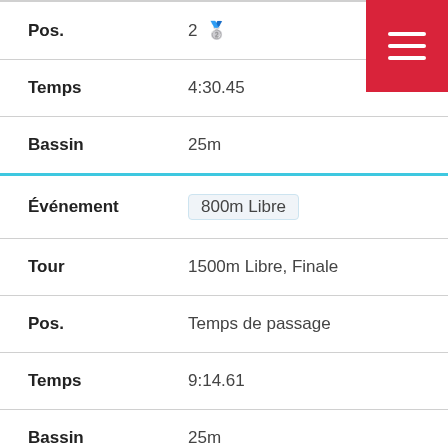| Label | Value |
| --- | --- |
| Pos. | 2 🥈 |
| Temps | 4:30.45 |
| Bassin | 25m |
| Événement | 800m Libre |
| Tour | 1500m Libre, Finale |
| Pos. | Temps de passage |
| Temps | 9:14.61 |
| Bassin | 25m |
| Événement | 1500m Libre |